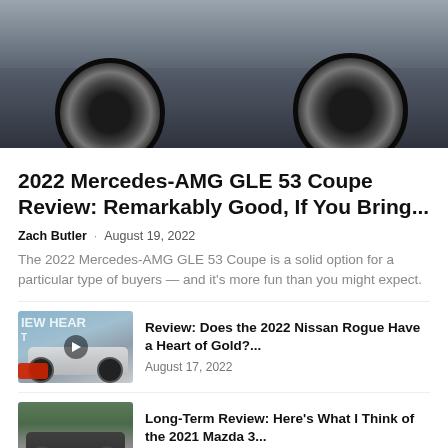[Figure (photo): Close-up of a dark luxury SUV (Mercedes-AMG GLE 53 Coupe) showing the lower body, wheel arch, and large alloy wheel from an angle, on a grey background.]
2022 Mercedes-AMG GLE 53 Coupe Review: Remarkably Good, If You Bring...
Zach Butler · August 19, 2022
The 2022 Mercedes-AMG GLE 53 Coupe is a solid option for a particular type of buyers — and it's more fun than you might expect.
[Figure (photo): Thumbnail image of a silver Nissan Rogue with mountains in background and 'IEW HEAR' text overlay, with a play button icon indicating a video review.]
Review: Does the 2022 Nissan Rogue Have a Heart of Gold?...
August 17, 2022
[Figure (photo): Thumbnail image of a dark grey Mazda 3 driving on a winding road with green foliage in background.]
Long-Term Review: Here's What I Think of the 2021 Mazda 3...
August 13, 2022
[Figure (photo): Partial thumbnail of another car article, partially visible at the bottom of the page.]